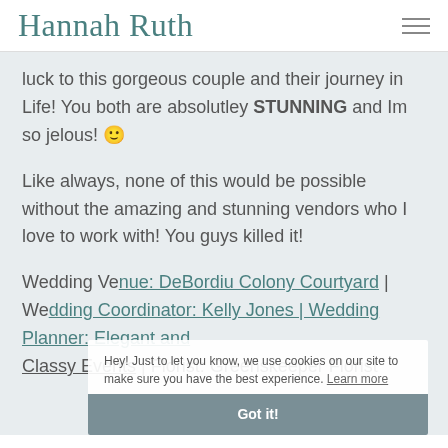Hannah Ruth
luck to this gorgeous couple and their journey in Life! You both are absolutley STUNNING and Im so jelous! 🙂
Like always, none of this would be possible without the amazing and stunning vendors who I love to work with! You guys killed it!
Wedding Venue: DeBordiu Colony Courtyard | Wedding Coordinator: Kelly Jones | Wedding Planner: Elegant and Classy Events | Florist: Greenskeeper Florist
Hey! Just to let you know, we use cookies on our site to make sure you have the best experience. Learn more  Got it!